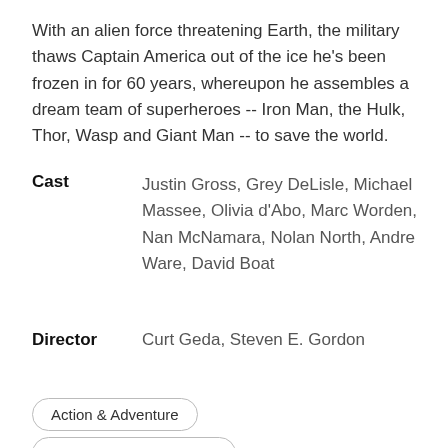With an alien force threatening Earth, the military thaws Captain America out of the ice he's been frozen in for 60 years, whereupon he assembles a dream team of superheroes -- Iron Man, the Hulk, Thor, Wasp and Giant Man -- to save the world.
Cast: Justin Gross, Grey DeLisle, Michael Massee, Olivia d'Abo, Marc Worden, Nan McNamara, Nolan North, Andre Ware, David Boat
Director: Curt Geda, Steven E. Gordon
Action & Adventure
Animation for Grown-ups
Comic Books and Superheroes
Action Sci-Fi & Fantasy